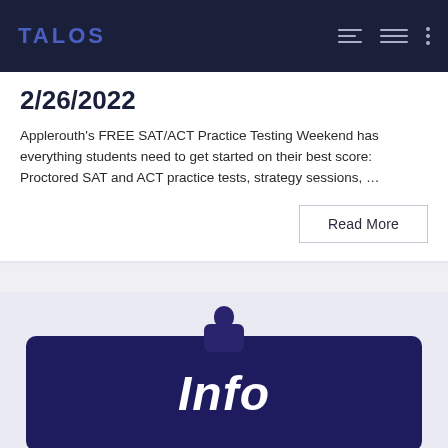TALOS
2/26/2022
Applerouth's FREE SAT/ACT Practice Testing Weekend has everything students need to get started on their best score: Proctored SAT and ACT practice tests, strategy sessions, …
Read More
[Figure (infographic): Dark navy blue card with rounded corners displaying the word 'Info' in large bold italic white text, with a small dark person/user icon above the card on a light gray-blue background.]